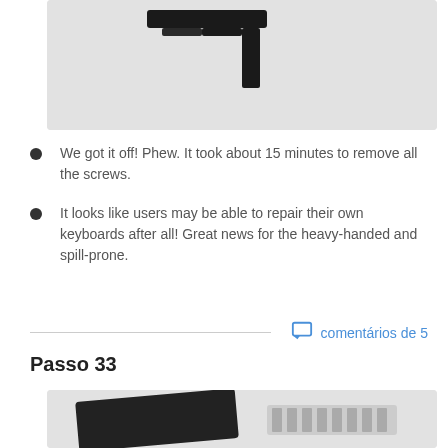[Figure (photo): Photo of a black flat flex cable connector against a light gray background, part of a keyboard teardown]
We got it off! Phew. It took about 15 minutes to remove all the screws.
It looks like users may be able to repair their own keyboards after all! Great news for the heavy-handed and spill-prone.
comentários de 5
Passo 33
[Figure (photo): Photo of a keyboard component (dark panel) alongside a connector strip, on a light gray background]